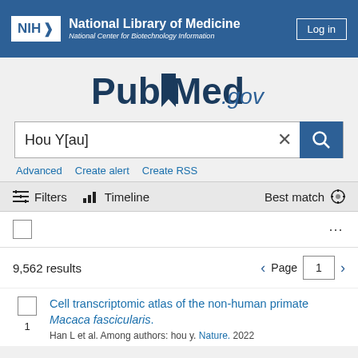NIH National Library of Medicine National Center for Biotechnology Information
[Figure (logo): PubMed.gov logo with stylized bookmark icon]
Hou Y[au]
Advanced  Create alert  Create RSS
Filters  Timeline  Best match
9,562 results  Page 1
Cell transcriptomic atlas of the non-human primate Macaca fascicularis.
Han L et al. Among authors: hou y. Nature. 2022